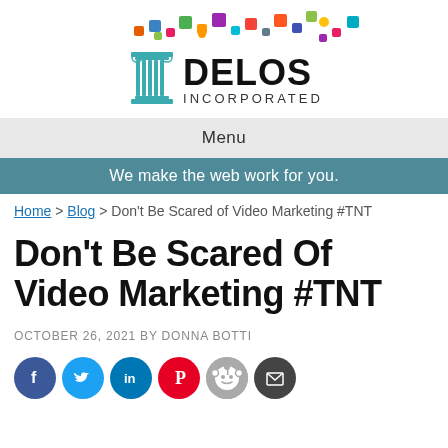[Figure (logo): Delos Incorporated logo with Greek column and scattered social media icons above]
Menu
We make the web work for you.
Home > Blog > Don't Be Scared of Video Marketing #TNT
Don't Be Scared Of Video Marketing #TNT
OCTOBER 26, 2021 BY DONNA BOTTI
[Figure (infographic): Social media share icons: Facebook, Twitter, LinkedIn, Pinterest, Reddit, Email]